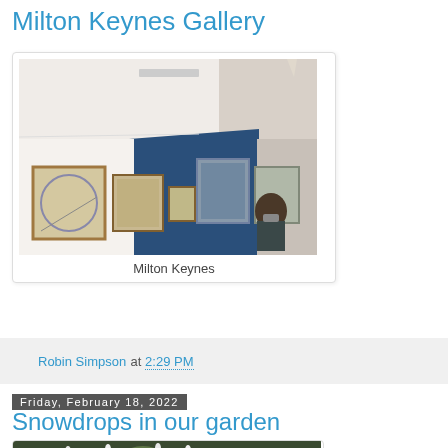Milton Keynes Gallery
[Figure (photo): Interior of Milton Keynes Gallery showing white walls, blue accent wall, and framed artwork hung at various heights. A person wearing a mask is visible in the background.]
Milton Keynes
Robin Simpson at 2:29 PM
Friday, February 18, 2022
Snowdrops in our garden
[Figure (photo): Partial view of a garden photo showing snowdrops and plants, cut off at bottom of page.]